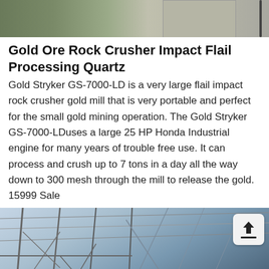[Figure (photo): Top portion of a photo showing industrial/mining equipment against a stone wall background]
Gold Ore Rock Crusher Impact Flail Processing Quartz
Gold Stryker GS-7000-LD is a very large flail impact rock crusher gold mill that is very portable and perfect for the small gold mining operation. The Gold Stryker GS-7000-LDuses a large 25 HP Honda Industrial engine for many years of trouble free use. It can process and crush up to 7 tons in a day all the way down to 300 mesh through the mill to release the gold. 15999 Sale
[Figure (photo): Photo of industrial scaffolding structure with a blue barrel/tank visible, taken from below looking up through a metal frame structure]